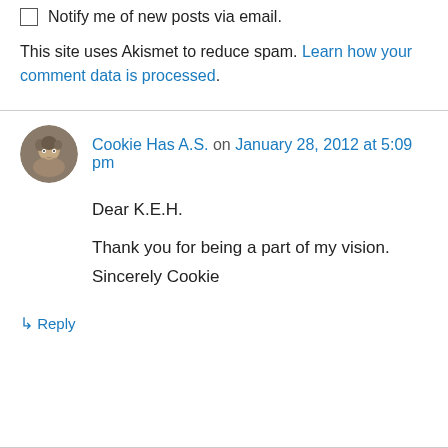Notify me of new posts via email.
This site uses Akismet to reduce spam. Learn how your comment data is processed.
Cookie Has A.S. on January 28, 2012 at 5:09 pm
Dear K.E.H.

Thank you for being a part of my vision.
Sincerely Cookie
↳ Reply